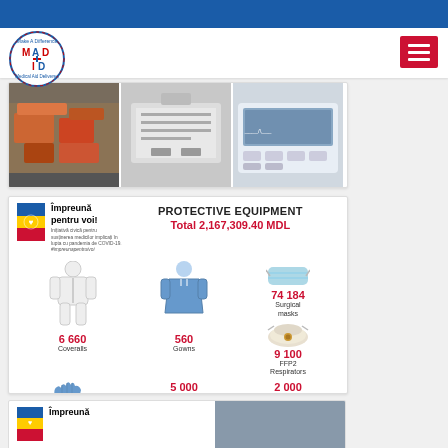[Figure (photo): MAD (Make A Difference, Medical Aid Delivered) logo — circular badge with red and blue text]
[Figure (photo): Three photos: medical supply boxes in a car trunk, laboratory equipment on a bench, an ECG/medical device]
[Figure (infographic): Protective Equipment infographic. Title: PROTECTIVE EQUIPMENT. Total 2,167,309.40 MDL. Items: 74 184 Surgical masks, 9 100 FFP2 Respirators, 258 600 Gloves, 6 660 Coveralls, 560 Gowns, 5 000 Visors, 2 000 Hairnets. Header: Împreună pentru voi! (initiative civila pentru sustinerea medicilor implicati in lupta cu pandemia de COVID-19. #impreunapentruivoi)]
[Figure (photo): Partial card showing Împreună logo and a photo, bottom of page]